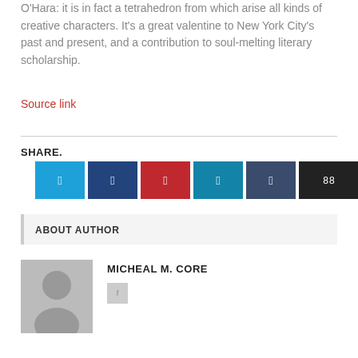O'Hara: it is in fact a tetrahedron from which arise all kinds of creative characters. It's a great valentine to New York City's past and present, and a contribution to soul-melting literary scholarship.
Source link
SHARE.
ABOUT AUTHOR
MICHEAL M. CORE